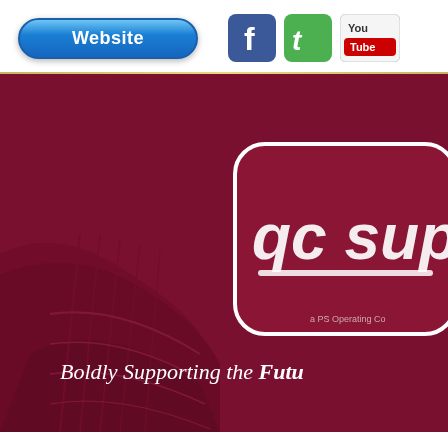Website [social icons: Facebook, Twitter, YouTube]
[Figure (logo): QC Supply company banner with dark crimson/maroon background showing a road/field scene, partial rounded rectangle logo badge with 'qc supp' text visible, italic text 'Boldly Supporting the Futu' and small text 'a PS Operating Co']